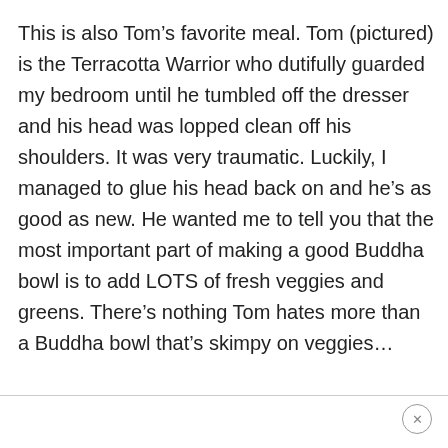This is also Tom's favorite meal. Tom (pictured) is the Terracotta Warrior who dutifully guarded my bedroom until he tumbled off the dresser and his head was lopped clean off his shoulders. It was very traumatic. Luckily, I managed to glue his head back on and he's as good as new. He wanted me to tell you that the most important part of making a good Buddha bowl is to add LOTS of fresh veggies and greens. There's nothing Tom hates more than a Buddha bowl that's skimpy on veggies…